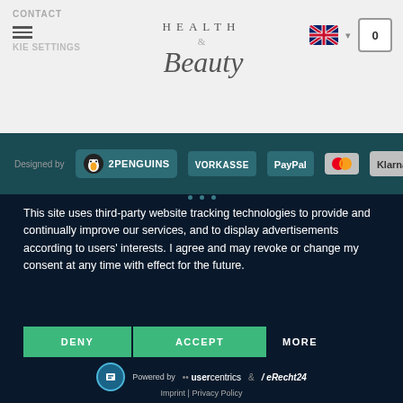CONTACT
COOKIE SETTINGS
HEALTH & Beauty
[Figure (screenshot): Website header with Health & Beauty logo, hamburger menu, contact link, cookie settings text, UK flag language selector, and cart icon showing 0 items]
[Figure (infographic): Footer bar with '2PENGUINS' penguin logo, VORKASSE, PayPal, Mastercard, and Klarna payment badges]
This site uses third-party website tracking technologies to provide and continually improve our services, and to display advertisements according to users' interests. I agree and may revoke or change my consent at any time with effect for the future.
[Figure (infographic): Three buttons: DENY (green), ACCEPT (green), MORE (white text)]
Powered by usercentrics & eRecht24
Imprint | Privacy Policy